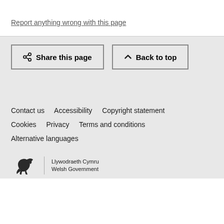Report anything wrong with this page
Share this page
Back to top
Contact us   Accessibility   Copyright statement   Cookies   Privacy   Terms and conditions   Alternative languages
[Figure (logo): Welsh Government / Llywodraeth Cymru logo with dragon emblem]